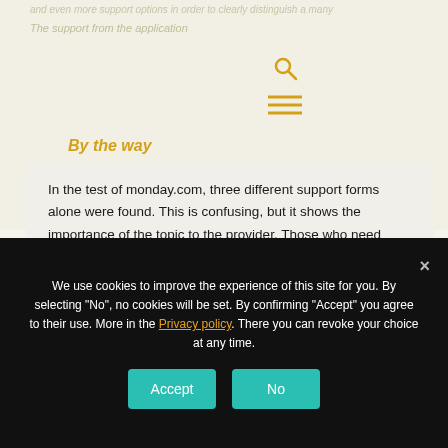The support from the application
By the way
In the test of monday.com, three different support forms alone were found. This is confusing, but it shows the importance of the topic to the provider. Those who need more help for monday.com can also seek external advice. Here is an overview of the experts on monday.com.
We use cookies to improve the experience of this site for you. By selecting "No", no cookies will be set. By confirming "Accept" you agree to their use. More in the Privacy policy. There you can revoke your choice at any time.